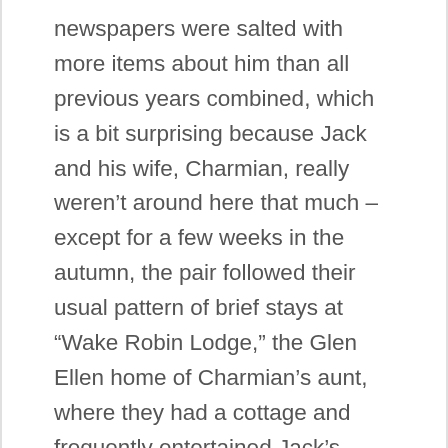newspapers were salted with more items about him than all previous years combined, which is a bit surprising because Jack and his wife, Charmian, really weren't around here that much – except for a few weeks in the autumn, the pair followed their usual pattern of brief stays at “Wake Robin Lodge,” the Glen Ellen home of Charmian’s aunt, where they had a cottage and frequently entertained Jack’s retinue. The new interest from the newspapers was probably due in part to the changing times; the progressive era was in high